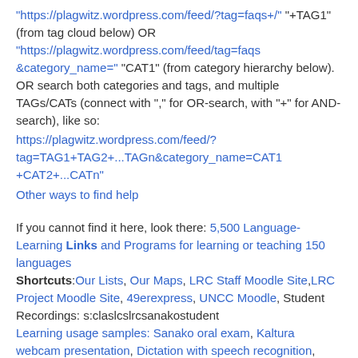"https://plagwitz.wordpress.com/feed/?tag=faqs+/" "+TAG1" (from tag cloud below) OR "https://plagwitz.wordpress.com/feed/tag=faqs&category_name=" "CAT1" (from category hierarchy below). OR search both categories and tags, and multiple TAGs/CATs (connect with "," for OR-search, with "+" for AND-search), like so:
https://plagwitz.wordpress.com/feed/?tag=TAG1+TAG2+...TAGn&category_name=CAT1+CAT2+...CATn"
Other ways to find help
If you cannot find it here, look there: 5,500 Language-Learning Links and Programs for learning or teaching 150 languages
Shortcuts:Our Lists, Our Maps, LRC Staff Moodle Site,LRC Project Moodle Site, 49erexpress, UNCC Moodle, Student Recordings: s:claslcslrcsanakostudent
Learning usage samples: Sanako oral exam, Kaltura webcam presentation, Dictation with speech recognition, Sanako written exam, Chinese and Japanese interactive stroke-order practice
Test the Sanako Installer, Webbrowser Popup Konfigurator for XP, or Windows7, faster LRC TeacherPC Log-in Let MS facilitate diacritics